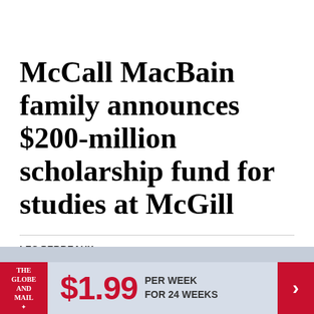McCall MacBain family announces $200-million scholarship fund for studies at McGill
LES PERREAUX >
INCLUDES CORRECTION
PUBLISHED FEBRUARY 13, 2019
[Figure (other): The Globe and Mail advertisement banner: $1.99 per week for 24 weeks]